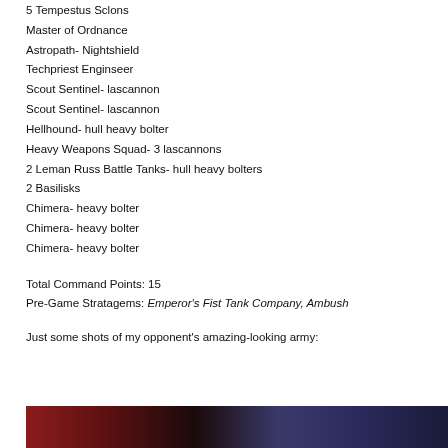5 Tempestus Sclons
Master of Ordnance
Astropath- Nightshield
Techpriest Enginseer
Scout Sentinel- lascannon
Scout Sentinel- lascannon
Hellhound- hull heavy bolter
Heavy Weapons Squad- 3 lascannons
2 Leman Russ Battle Tanks- hull heavy bolters
2 Basilisks
Chimera- heavy bolter
Chimera- heavy bolter
Chimera- heavy bolter
Total Command Points: 15
Pre-Game Stratagems: Emperor's Fist Tank Company, Ambush
Just some shots of my opponent's amazing-looking army:
[Figure (photo): Photo of opponent's miniature army, partially visible at bottom of page]